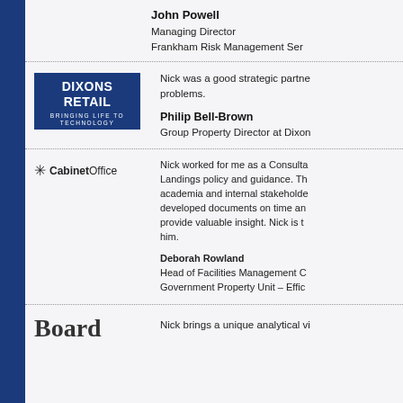John Powell
Managing Director
Frankham Risk Management Ser...
[Figure (logo): Dixons Retail logo – dark blue background, white text, 'DIXONS RETAIL', 'BRINGING LIFE TO TECHNOLOGY']
Nick was a good strategic partne... problems.
Philip Bell-Brown
Group Property Director at Dixon...
[Figure (logo): Cabinet Office logo with royal crest and text 'Cabinet Office']
Nick worked for me as a Consulta... Landings policy and guidance. Th... academia and internal stakeholde... developed documents on time an... provide valuable insight. Nick is t... him.
Deborah Rowland
Head of Facilities Management C...
Government Property Unit – Effic...
[Figure (logo): Board logo (partial text visible)]
Nick brings a unique analytical vi...